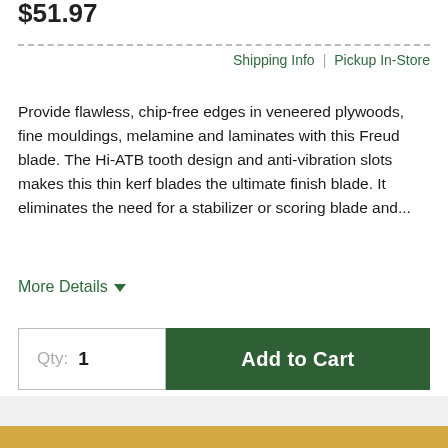$51.97
Shipping Info | Pickup In-Store
Provide flawless, chip-free edges in veneered plywoods, fine mouldings, melamine and laminates with this Freud blade. The Hi-ATB tooth design and anti-vibration slots makes this thin kerf blades the ultimate finish blade. It eliminates the need for a stabilizer or scoring blade and...
More Details
Qty: 1
Add to Cart
Add to Wishlist  Share